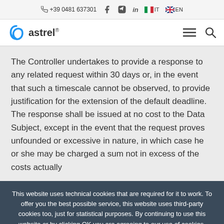+39 0481 637301 | Facebook | YouTube | LinkedIn | IT | EN
astrel® [logo] [menu] [search]
The Controller undertakes to provide a response to any related request within 30 days or, in the event that such a timescale cannot be observed, to provide justification for the extension of the default deadline. The response shall be issued at no cost to the Data Subject, except in the event that the request proves unfounded or excessive in nature, in which case he or she may be charged a sum not in excess of the costs actually
This website uses technical cookies that are required for it to work. To offer you the best possible service, this website uses third-party cookies too, just for statistical purposes. By continuing to use this website or by clicking OK you are agreeing to our use of cookies.